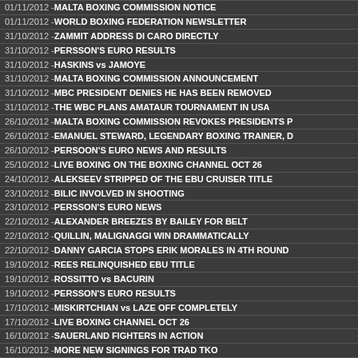01/11/2012 - MALTA BOXING COMMISSION NOTICE
01/11/2012 - WORLD BOXING FEDERATION NEWSLETTER
31/10/2012 - ZAMMIT ADDRESS DI CARO DIRECTLY
31/10/2012 - PERSSON'S EURO RESULTS
31/10/2012 - HASKINS vs JAMOYE
31/10/2012 - MALTA BOXING COMMISSION ANNOUNCEMENT
31/10/2012 - MBC PRESIDENT DENIES HE HAS BEEN REMOVED
31/10/2012 - THE WBC PLANS AMATAUR TOURNAMENT IN USA
26/10/2012 - MALTA BOXING COMMISSION REVOKES PRESIDENTS P
26/10/2012 - EMANUEL STEWARD, LEGENDARY BOXING TRAINER, D
26/10/2012 - PERSOON'S EURO NEWS AND RESULTS
25/10/2012 - LIVE BOXING ON THE BOXING CHANNEL OCT 26
24/10/2012 - ALEKSEEV STRIPPED OF THE EBU CRUISER TITLE
23/10/2012 - BILIC INVOLVED IN SHOOTING
23/10/2012 - PERSSON'S EURO NEWS
22/10/2012 - ALEXANDER BREEZES BY BAILEY FOR BELT
22/10/2012 - QUILLIN, MALIGNAGGI WIN DRAMMATICALLY
22/10/2012 - DANNY GARCIA STOPS ERIK MORALES IN 4TH ROUND
19/10/2012 - REES RELINQUISHED EBU TITLE
19/10/2012 - ROSSITTO vs BACURIN
19/10/2012 - PERSSON'S EURO RESULTS
17/10/2012 - MISKIRTCHIAN vs LAZE OFF COMPLETELY
17/10/2012 - LIVE BOXING CHANNEL OCT 26
16/10/2012 - SAUERLAND FIGHTERS IN ACTION
16/10/2012 - MORE NEW SIGNINGS FOR TRAD TKO
15/10/2012 - PURSE BIDS EBU MIDDLEWEIGHT
15/10/2012 - DIRKS IN HIS FIRST TITLEFIGHT